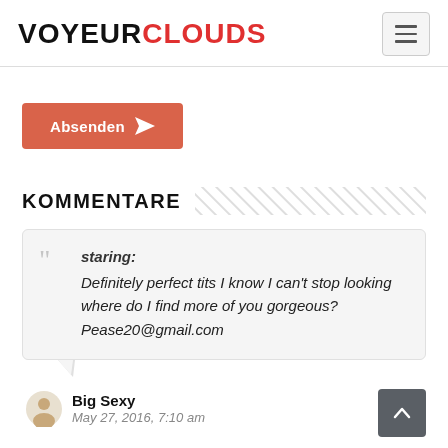VOYEURCLOUDS
[Figure (other): Orange submit button labeled 'Absenden' with paper airplane icon]
KOMMENTARE
staring:
Definitely perfect tits I know I can't stop looking where do I find more of you gorgeous? Pease20@gmail.com
Big Sexy
May 27, 2016, 7:10 am